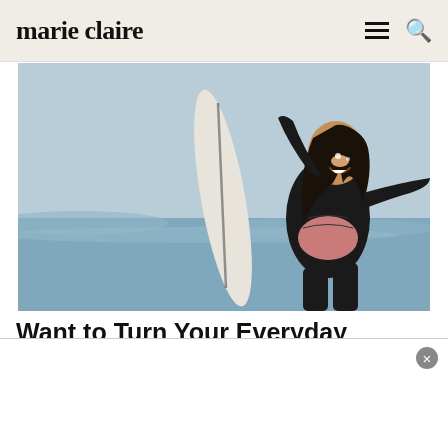marie claire
[Figure (photo): A smiling woman in a black and pink wetsuit holding a white surfboard at the beach with ocean waves in the background]
Want to Turn Your Everyday Purchases Into Amazing Travel Perks?
Enjoy perks like $0 annual fee or up to 60,000 bonus points. Tap to apply.